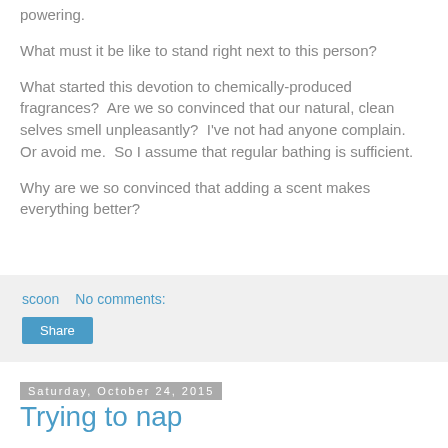powering.
What must it be like to stand right next to this person?
What started this devotion to chemically-produced fragrances?  Are we so convinced that our natural, clean selves smell unpleasantly?  I've not had anyone complain.  Or avoid me.  So I assume that regular bathing is sufficient.
Why are we so convinced that adding a scent makes everything better?
scoon    No comments:
Share
Saturday, October 24, 2015
Trying to nap
I injured my shoulder last weekend and have been in a lot of pain.  It's a recurring issue so I didn't bother to go to the